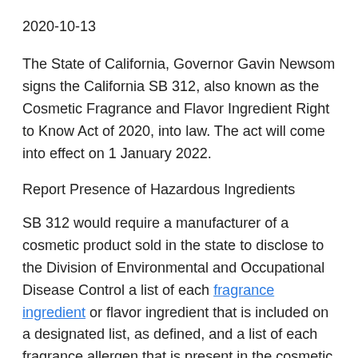2020-10-13
The State of California, Governor Gavin Newsom signs the California SB 312, also known as the Cosmetic Fragrance and Flavor Ingredient Right to Know Act of 2020, into law. The act will come into effect on 1 January 2022.
Report Presence of Hazardous Ingredients
SB 312 would require a manufacturer of a cosmetic product sold in the state to disclose to the Division of Environmental and Occupational Disease Control a list of each fragrance ingredient or flavor ingredient that is included on a designated list, as defined, and a list of each fragrance allergen that is present in the cosmetic product in specified concentrations.